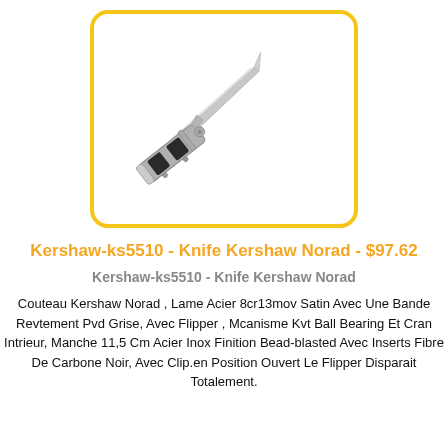[Figure (photo): A folding knife (Kershaw Norad) shown open at a diagonal angle, with a silver blade and handle with black carbon fiber inserts, displayed inside a yellow-bordered rounded rectangle on a white background.]
Kershaw-ks5510 - Knife Kershaw Norad - $97.62
Kershaw-ks5510 - Knife Kershaw Norad
Couteau Kershaw Norad , Lame Acier 8cr13mov Satin Avec Une Bande Revtement Pvd Grise, Avec Flipper , Mcanisme Kvt Ball Bearing Et Cran Intrieur, Manche 11,5 Cm Acier Inox Finition Bead-blasted Avec Inserts Fibre De Carbone Noir, Avec Clip.en Position Ouvert Le Flipper Disparait Totalement.